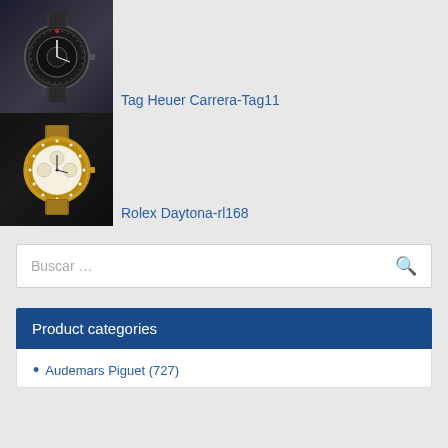[Figure (photo): Photo of Tag Heuer Carrera-Tag11 dark watch with metal bracelet]
Tag Heuer Carrera-Tag11
[Figure (photo): Photo of Rolex Daytona-rl168 gold watch with metal bracelet]
Rolex Daytona-rl168
Buscar …
Product categories
Audemars Piguet (727)